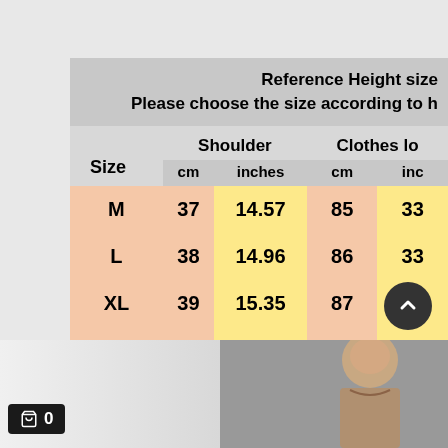| Size | Shoulder cm | Shoulder inches | Clothes lo cm | Clothes lo inc |
| --- | --- | --- | --- | --- |
| M | 37 | 14.57 | 85 | 33 |
| L | 38 | 14.96 | 86 | 33 |
| XL | 39 | 15.35 | 87 | 34 |
| 2XL | 40 | 15.75 | 88 | 34 |
unit: (cm) 1cm = 0.3937inches 1 inches = 2.5... 2 cm difference due to manual m...
[Figure (photo): Product photo showing a woman model, partially cropped at bottom of page]